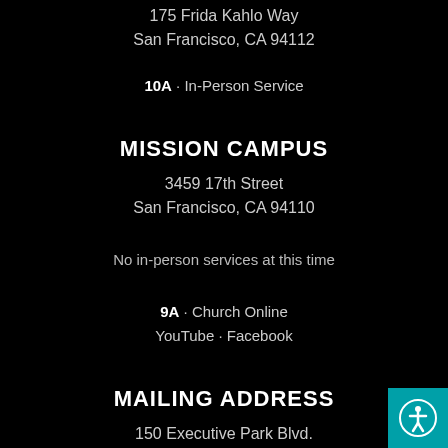175 Frida Kahlo Way
San Francisco, CA 94112
10A · In-Person Service
MISSION CAMPUS
3459 17th Street
San Francisco, CA 94110
No in-person services at this time
9A · Church Online
YouTube · Facebook
MAILING ADDRESS
150 Executive Park Blvd.
Suite 1200
SF, CA 94134